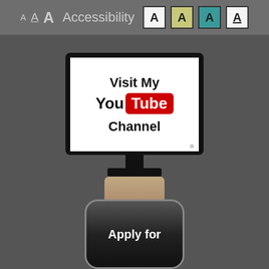[Figure (infographic): Accessibility header bar with letter A in different sizes and styles, followed by A Accessibility label, then four boxed A letters with different background colors (white, yellow/olive, teal, white with underline)]
[Figure (illustration): A computer monitor/TV displaying the text 'Visit My YouTube Channel' with the YouTube logo (red box with white Tube text). The monitor has a stand with neck and base.]
[Figure (illustration): A smartwatch with a tan/beige leather band visible at top, and the watch body showing text 'Apply for' in white bold text at the bottom of the page.]